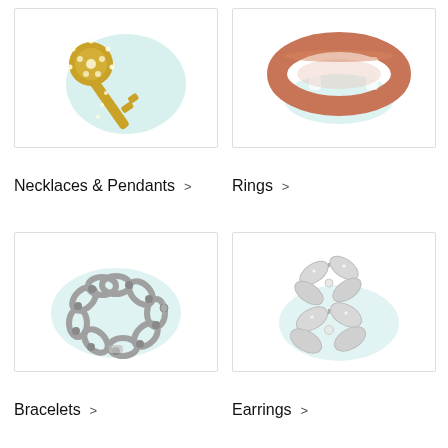[Figure (photo): Gold diamond key pendant necklace on tiffany blue background]
[Figure (photo): Rose gold ring with cutout pattern on tiffany blue background]
Necklaces & Pendants >
Rings >
[Figure (photo): Silver chain link bracelet with diamond accents on tiffany blue background]
[Figure (photo): Diamond butterfly stud earrings with marquise cut stones on tiffany blue background]
Bracelets >
Earrings >